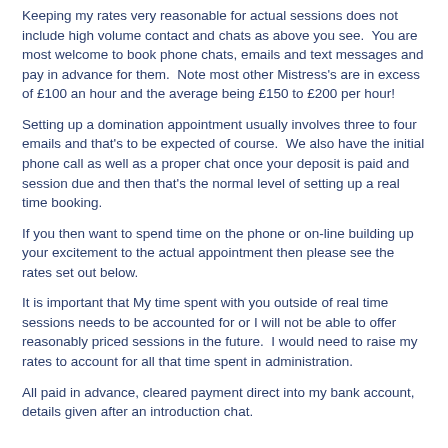Keeping my rates very reasonable for actual sessions does not include high volume contact and chats as above you see.  You are most welcome to book phone chats, emails and text messages and pay in advance for them.  Note most other Mistress's are in excess of £100 an hour and the average being £150 to £200 per hour!
Setting up a domination appointment usually involves three to four emails and that's to be expected of course.  We also have the initial phone call as well as a proper chat once your deposit is paid and session due and then that's the normal level of setting up a real time booking.
If you then want to spend time on the phone or on-line building up your excitement to the actual appointment then please see the rates set out below.
It is important that My time spent with you outside of real time sessions needs to be accounted for or I will not be able to offer reasonably priced sessions in the future.  I would need to raise my rates to account for all that time spent in administration.
All paid in advance, cleared payment direct into my bank account, details given after an introduction chat.